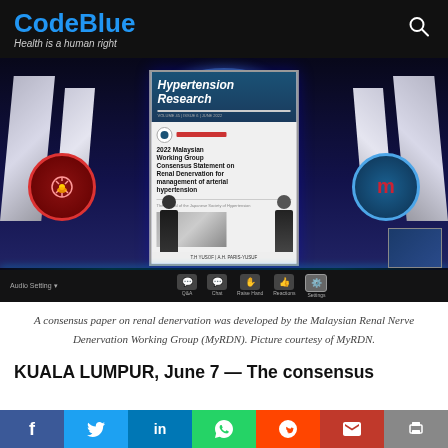CodeBlue — Health is a human right
[Figure (screenshot): Virtual conference screenshot showing a digital stage with two presenters standing in front of a large screen displaying the Hypertension Research journal cover and a slide titled '2022 Malaysian Working Group Consensus Statement on Renal Denervation for management of arterial hypertension'. Malaysian association logos visible on left and right sides. Zoom meeting controls visible at the bottom.]
A consensus paper on renal denervation was developed by the Malaysian Renal Nerve Denervation Working Group (MyRDN). Picture courtesy of MyRDN.
KUALA LUMPUR, June 7 — The consensus